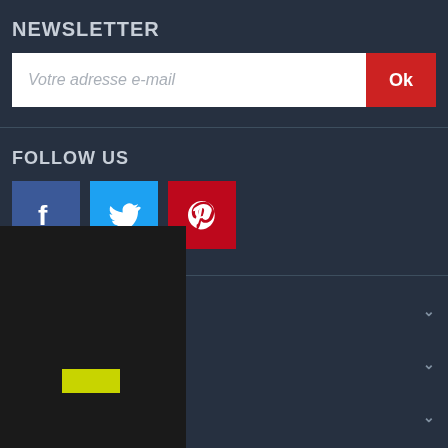NEWSLETTER
Votre adresse e-mail
Ok
FOLLOW US
[Figure (other): Social media icons: Facebook (blue), Twitter (light blue), Pinterest (red)]
PRODUITS
SOCIÉTÉ
VOTRE COMPTE
TIONS
[Figure (other): Black overlay panel with yellow rectangle at bottom left]